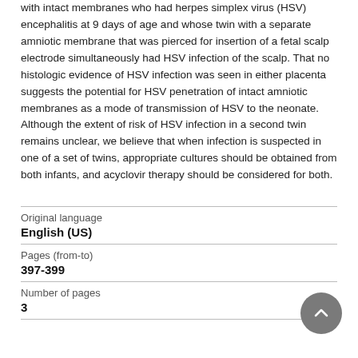with intact membranes who had herpes simplex virus (HSV) encephalitis at 9 days of age and whose twin with a separate amniotic membrane that was pierced for insertion of a fetal scalp electrode simultaneously had HSV infection of the scalp. That no histologic evidence of HSV infection was seen in either placenta suggests the potential for HSV penetration of intact amniotic membranes as a mode of transmission of HSV to the neonate. Although the extent of risk of HSV infection in a second twin remains unclear, we believe that when infection is suspected in one of a set of twins, appropriate cultures should be obtained from both infants, and acyclovir therapy should be considered for both.
| Field | Value |
| --- | --- |
| Original language | English (US) |
| Pages (from-to) | 397-399 |
| Number of pages | 3 |